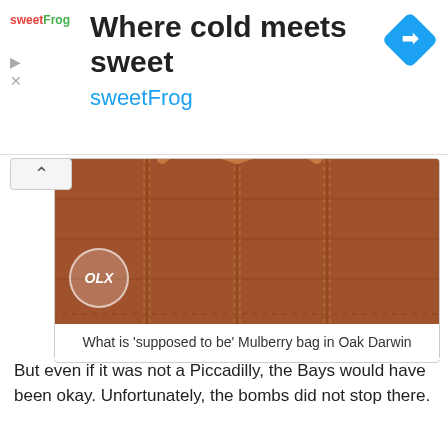[Figure (screenshot): SweetFrog advertisement banner: 'Where cold meets sweet / sweetFrog' with logo and navigation icon]
[Figure (photo): Brown leather Mulberry bag with OLX watermark logo]
What is ‘supposed to be’ Mulberry bag in Oak Darwin
But even if it was not a Piccadilly, the Bays would have been okay. Unfortunately, the bombs did not stop there.
[Figure (screenshot): iPhone screenshot showing Globe carrier, 9:22 AM, March 8 at 3:11 PM with Edit button]